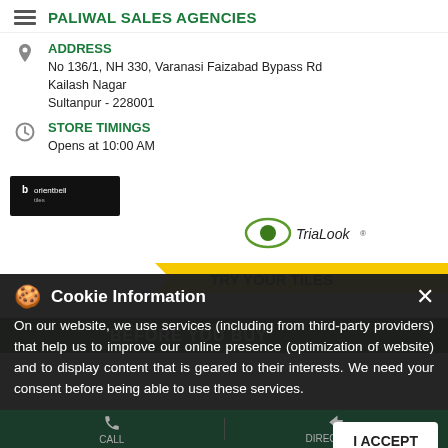PALIWAL SALES AGENCIES
ADDRESS
No 136/1, NH 330, Varanasi Faizabad Bypass Rd
Kailash Nagar
Sultanpur - 228001
STORE TIMINGS
Opens at 10:00 AM
[Figure (screenshot): Orientbell Tiles advertisement banner showing TriaLook branding, 'TRY YOUR TILES BEFORE YOU BUY' text, tile images, and WHATSAPP US button]
Cookie Information
On our website, we use services (including from third-party providers) that help us to improve our online presence (optimization of website) and to display content that is geared to their interests. We need your consent before being able to use these services.
I ACCEPT
CALL    DIRECTIONS